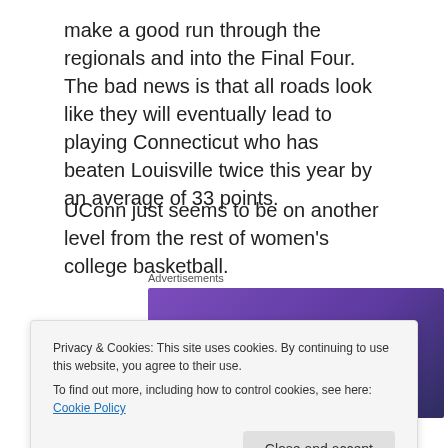make a good run through the regionals and into the Final Four.  The bad news is that all roads look like they will eventually lead to playing Connecticut who has beaten Louisville twice this year by an average of 33 points.
UConn just seems to be on another level from the rest of women's college basketball.
Advertisements
[Figure (logo): WooCommerce advertisement banner with purple gradient background and WooCommerce logo in white]
Privacy & Cookies: This site uses cookies. By continuing to use this website, you agree to their use.
To find out more, including how to control cookies, see here: Cookie Policy